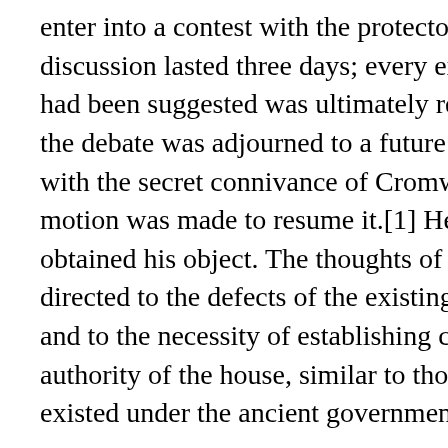enter into a contest with the protector. The discussion lasted three days; every expedient that had been suggested was ultimately rejected; and the debate was adjourned to a future day,[c] when, with the secret connivance of Cromwell, no motion was made to resume it.[1] He had already obtained his object. The thoughts of men had been directed to the defects of the existing constitution, and to the necessity of establishing checks on the authority of the house, similar to those which existed under the ancient government.